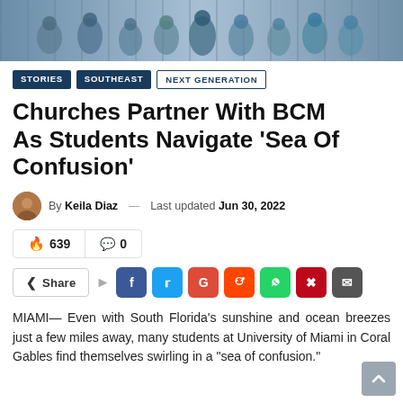[Figure (photo): Group photo of students posing with hands raised outdoors]
STORIES
SOUTHEAST
NEXT GENERATION
Churches Partner With BCM As Students Navigate 'Sea Of Confusion'
By Keila Diaz — Last updated Jun 30, 2022
🔥 639   💬 0
Share (social buttons: Facebook, Twitter, Google, Reddit, WhatsApp, Pinterest, Email)
MIAMI— Even with South Florida's sunshine and ocean breezes just a few miles away, many students at University of Miami in Coral Gables find themselves swirling in a "sea of confusion."